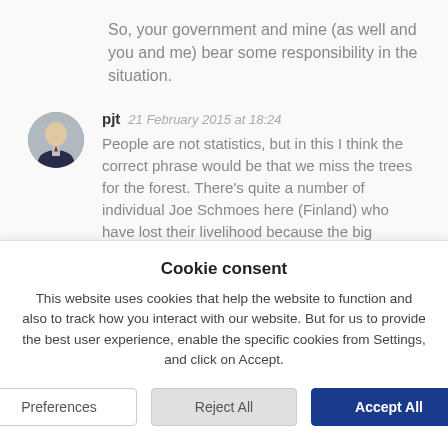So, your government and mine (as well and you and me) bear some responsibility in the situation.
pjt  21 February 2015 at 18:24
People are not statistics, but in this I think the correct phrase would be that we miss the trees for the forest. There's quite a number of individual Joe Schmoes here (Finland) who have lost their livelihood because the big
Cookie consent
This website uses cookies that help the website to function and also to track how you interact with our website. But for us to provide the best user experience, enable the specific cookies from Settings, and click on Accept.
Preferences
Reject All
Accept All